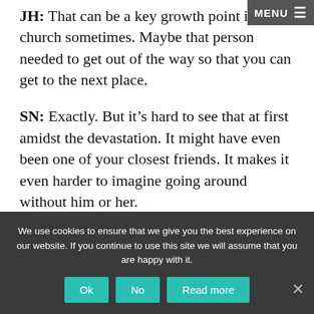JH: That can be a key growth point in your church sometimes. Maybe that person needed to get out of the way so that you can get to the next place. SN: Exactly. But it's hard to see that at first amidst the devastation. It might have even been one of your closest friends. It makes it even harder to imagine going around without him or her.
JH: You know, is there something to say here about seasonal attendance patterns, just to remind people that attendance goes down in the
We use cookies to ensure that we give you the best experience on our website. If you continue to use this site we will assume that you are happy with it.